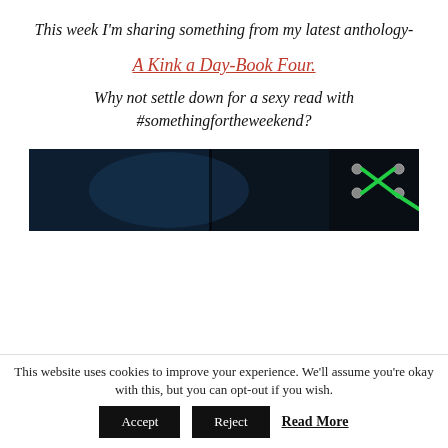This week I'm sharing something from my latest anthology-
A Kink a Day-Book Four.
Why not settle down for a sexy read with #somethingfortheweekend?
[Figure (photo): Dark book cover image showing green laces/corset detail on dark background]
This website uses cookies to improve your experience. We'll assume you're okay with this, but you can opt-out if you wish.
Accept  Reject  Read More